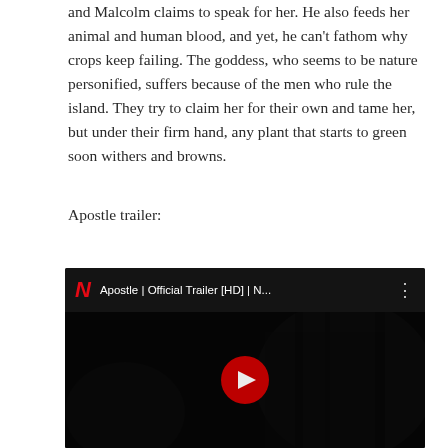and Malcolm claims to speak for her. He also feeds her animal and human blood, and yet, he can't fathom why crops keep failing. The goddess, who seems to be nature personified, suffers because of the men who rule the island. They try to claim her for their own and tame her, but under their firm hand, any plant that starts to green soon withers and browns.
Apostle trailer:
[Figure (screenshot): YouTube embedded video thumbnail showing the Netflix Apostle Official Trailer [HD] with Netflix logo (red N), video title 'Apostle | Official Trailer [HD] | N...', three-dot menu icon, and a YouTube play button (red circle with white triangle) over a dark background scene.]